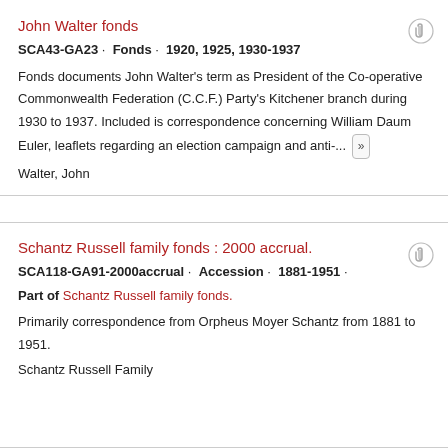John Walter fonds
SCA43-GA23 · Fonds · 1920, 1925, 1930-1937
Fonds documents John Walter's term as President of the Co-operative Commonwealth Federation (C.C.F.) Party's Kitchener branch during 1930 to 1937. Included is correspondence concerning William Daum Euler, leaflets regarding an election campaign and anti-...
Walter, John
Schantz Russell family fonds : 2000 accrual.
SCA118-GA91-2000accrual · Accession · 1881-1951 ·
Part of Schantz Russell family fonds.
Primarily correspondence from Orpheus Moyer Schantz from 1881 to 1951.
Schantz Russell Family